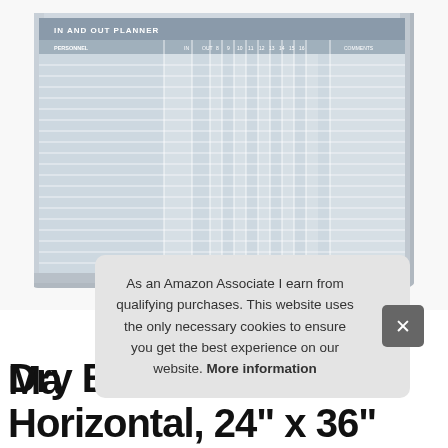[Figure (photo): Photo of a MasterVision In and Out Planner whiteboard with aluminum frame, showing a grid-based planner surface with columns for employee names, days, and comments. A marker tray is visible at the bottom.]
As an Amazon Associate I earn from qualifying purchases. This website uses the only necessary cookies to ensure you get the best experience on our website. More information
Ma
Dry Erase In & Out Horizontal, 24" x 36"